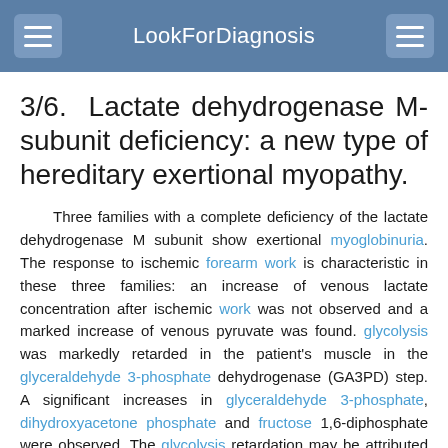LookForDiagnosis
3/6.  Lactate dehydrogenase M-subunit deficiency: a new type of hereditary exertional myopathy.
Three families with a complete deficiency of the lactate dehydrogenase M subunit show exertional myoglobinuria. The response to ischemic forearm work is characteristic in these three families: an increase of venous lactate concentration after ischemic work was not observed and a marked increase of venous pyruvate was found. glycolysis was markedly retarded in the patient's muscle in the glyceraldehyde 3-phosphate dehydrogenase (GA3PD) step. A significant increases in glyceraldehyde 3-phosphate, dihydroxyacetone phosphate and fructose 1,6-diphosphate were observed. The glycolysis retardation may be attributed to the impaired reoxidation of NADH produced by GA3PD action. The cytosolic fraction of skeletal muscle is rich in alpha-glycerophosphate dehydrogenase. This enzyme